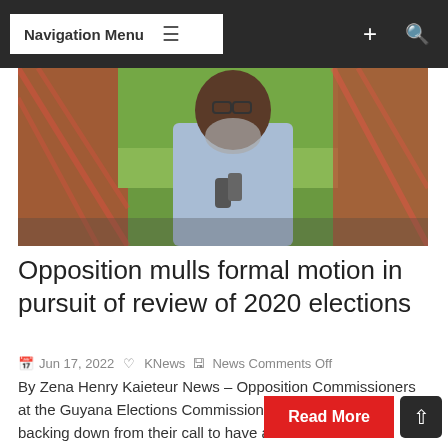Navigation Menu
[Figure (photo): A man in a light blue shirt holding a microphone, standing in front of a red chain-link fence with greenery behind him.]
Opposition mulls formal motion in pursuit of review of 2020 elections
Jun 17, 2022  KNews  News Comments Off
By Zena Henry Kaieteur News – Opposition Commissioners at the Guyana Elections Commission (GECOM) are not backing down from their call to have a review of the controversial 2020 elections...